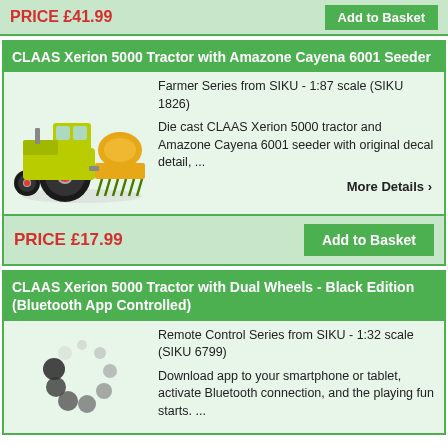PRICE £41.99 | Add to Basket
CLAAS Xerion 5000 Tractor with Amazone Cayena 6001 Seeder
Farmer Series from SIKU - 1:87 scale (SIKU 1826)
[Figure (photo): Die cast CLAAS Xerion 5000 tractor with Amazone Cayena 6001 seeder toy model photo]
Die cast CLAAS Xerion 5000 tractor and Amazone Cayena 6001 seeder with original decal detail, ...
More Details ›
PRICE £17.99 | Add to Basket
CLAAS Xerion 5000 Tractor with Dual Wheels - Black Edition (Bluetooth App Controlled)
Remote Control Series from SIKU - 1:32 scale (SIKU 6799)
[Figure (photo): Loading spinner / placeholder image for CLAAS Xerion 5000 Tractor with Dual Wheels Black Edition]
Download app to your smartphone or tablet, activate Bluetooth connection, and the playing fun starts. ...